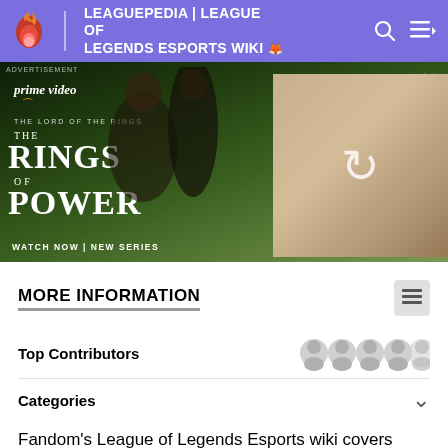LEAGUEPEDIA | LEAGUE OF LEGENDS ESPORTS WIKI
[Figure (screenshot): Amazon Prime Video advertisement for The Lord of the Rings: The Rings of Power. Left panel shows dark fantasy landscape with two characters and title text 'THE RINGS OF POWER - WATCH NOW | NEW SERIES'. Right panel shows a group of figures with a refresh/reload icon overlay.]
MORE INFORMATION
Top Contributors
Categories
Fandom's League of Legends Esports wiki covers tournaments, teams, players, and personalities in League of Legends. Pages that were modified between